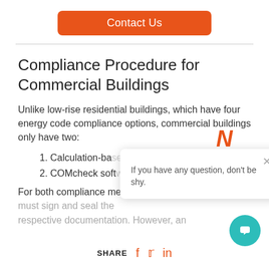[Figure (other): Orange 'Contact Us' button centered at top of page]
Compliance Procedure for Commercial Buildings
Unlike low-rise residential buildings, which have four energy code compliance options, commercial buildings only have two:
1. Calculation-ba...
2. COMcheck soft...
For both compliance methods, a design professional must sign and seal the respective documentation. However, an...
[Figure (other): Chat popup overlay with orange N logo, close button, and text 'If you have any question, don't be shy.']
SHARE  f  Twitter  in